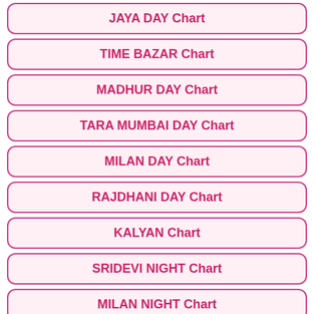JAYA DAY Chart
TIME BAZAR Chart
MADHUR DAY Chart
TARA MUMBAI DAY Chart
MILAN DAY Chart
RAJDHANI DAY Chart
KALYAN Chart
SRIDEVI NIGHT Chart
MILAN NIGHT Chart
SUPREME DAY Chart